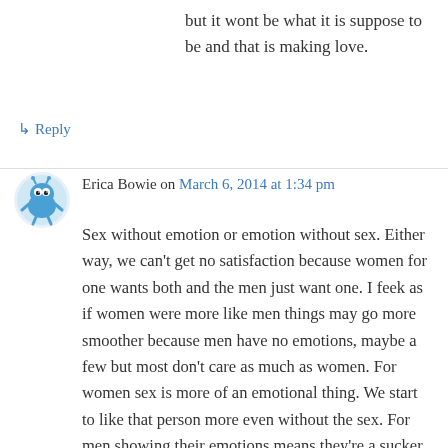but it wont be what it is suppose to be and that is making love.
↳ Reply
Erica Bowie on March 6, 2014 at 1:34 pm
Sex without emotion or emotion without sex. Either way, we can't get no satisfaction because women for one wants both and the men just want one. I feek as if women were more like men things may go more smoother because men have no emotions, maybe a few but most don't care as much as women. For women sex is more of an emotional thing. We start to like that person more even without the sex. For men showing their emotions means they're a sucker